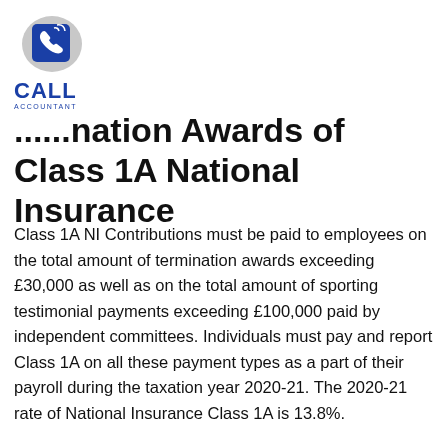[Figure (logo): Call Accountant logo with blue stylized phone icon and text CALL ACCOUNTANT]
...nation Awards of Class 1A National Insurance
Class 1A NI Contributions must be paid to employees on the total amount of termination awards exceeding £30,000 as well as on the total amount of sporting testimonial payments exceeding £100,000 paid by independent committees. Individuals must pay and report Class 1A on all these payment types as a part of their payroll during the taxation year 2020-21. The 2020-21 rate of National Insurance Class 1A is 13.8%.